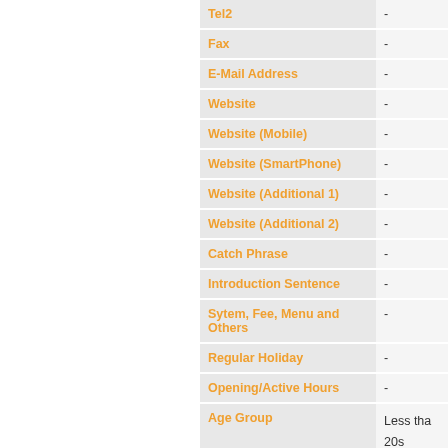| Field | Value |
| --- | --- |
| Tel2 | - |
| Fax | - |
| E-Mail Address | - |
| Website | - |
| Website (Mobile) | - |
| Website (SmartPhone) | - |
| Website (Additional 1) | - |
| Website (Additional 2) | - |
| Catch Phrase | - |
| Introduction Sentence | - |
| Sytem, Fee, Menu and Others | - |
| Regular Holiday | - |
| Opening/Active Hours | - |
| Age Group | Less tha
20s
30s |
| Additional Information | Parking |
| Remarks |  |